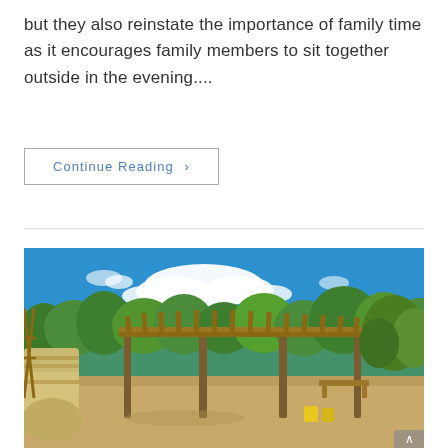but they also reinstate the importance of family time as it encourages family members to sit together outside in the evening....
Continue Reading ›
[Figure (photo): Outdoor farm or garden scene with a rustic wooden pergola structure in the center, surrounded by green trees and bushes, hay bales on the left, sandy ground with yellow containers, under a bright blue sky with white clouds.]